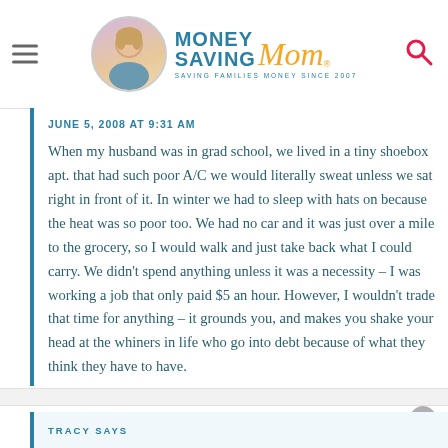Money Saving Mom® — SAVING FAMILIES MONEY SINCE 2007
JUNE 5, 2008 AT 9:31 AM
When my husband was in grad school, we lived in a tiny shoebox apt. that had such poor A/C we would literally sweat unless we sat right in front of it. In winter we had to sleep with hats on because the heat was so poor too. We had no car and it was just over a mile to the grocery, so I would walk and just take back what I could carry. We didn't spend anything unless it was a necessity – I was working a job that only paid $5 an hour. However, I wouldn't trade that time for anything – it grounds you, and makes you shake your head at the whiners in life who go into debt because of what they think they have to have.
TRACY SAYS